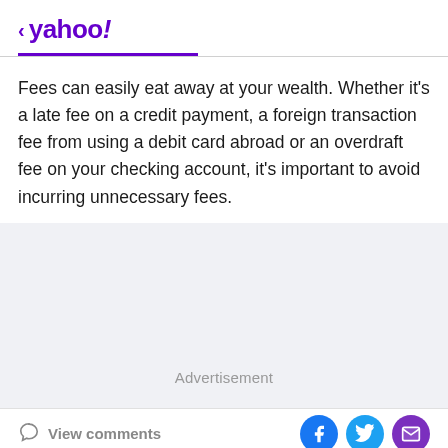< yahoo!
Fees can easily eat away at your wealth. Whether it's a late fee on a credit payment, a foreign transaction fee from using a debit card abroad or an overdraft fee on your checking account, it's important to avoid incurring unnecessary fees.
[Figure (other): Advertisement placeholder box with light gray background]
View comments | Facebook share | Twitter share | Email share